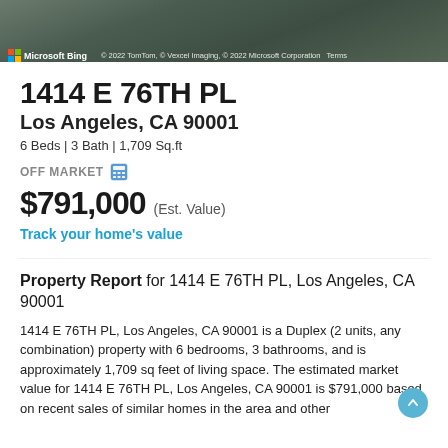[Figure (screenshot): Aerial satellite map view (Microsoft Bing Maps) of 1414 E 76TH PL neighborhood with watermark: © 2022 TomTom, © Vexcel Imaging, © 2022 Microsoft Corporation, Terms]
1414 E 76TH PL
Los Angeles, CA 90001
6 Beds | 3 Bath | 1,709 Sq.ft
OFF MARKET
$791,000 (Est. Value)
Track your home's value
Property Report for 1414 E 76TH PL, Los Angeles, CA 90001
1414 E 76TH PL, Los Angeles, CA 90001 is a Duplex (2 units, any combination) property with 6 bedrooms, 3 bathrooms, and is approximately 1,709 sq feet of living space. The estimated market value for 1414 E 76TH PL, Los Angeles, CA 90001 is $791,000 based on recent sales of similar homes in the area and other